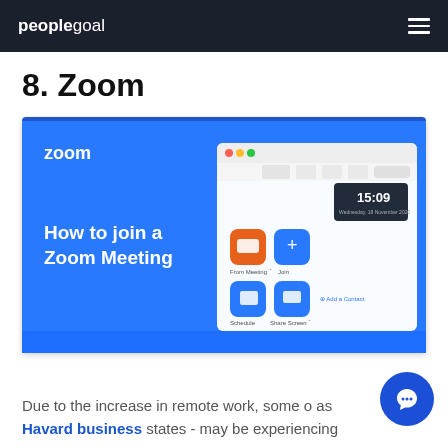peoplegoal
8. Zoom
[Figure (screenshot): Zoom promotional screenshot showing 'How to join a Zoom Meeting' on a blue background, with a macOS-style Zoom app window showing the home screen with meeting controls and a clock showing 15:09]
Due to the increase in remote work, some o as Havard business states - may be experiencing